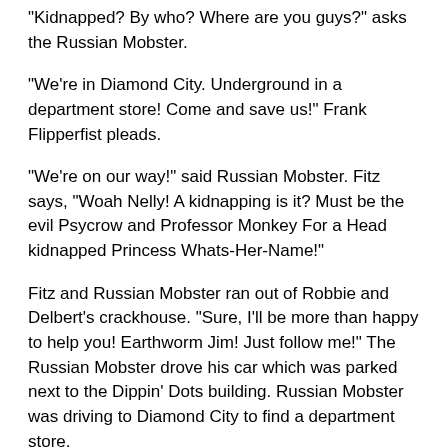"Kidnapped? By who? Where are you guys?" asks the Russian Mobster.
"We're in Diamond City. Underground in a department store! Come and save us!" Frank Flipperfist pleads.
"We're on our way!" said Russian Mobster. Fitz says, "Woah Nelly! A kidnapping is it? Must be the evil Psycrow and Professor Monkey For a Head kidnapped Princess Whats-Her-Name!"
Fitz and Russian Mobster ran out of Robbie and Delbert's crackhouse. "Sure, I'll be more than happy to help you! Earthworm Jim! Just follow me!" The Russian Mobster drove his car which was parked next to the Dippin' Dots building. Russian Mobster was driving to Diamond City to find a department store.
"So glad to have you with me, Peter Puppy!" Fitz said.